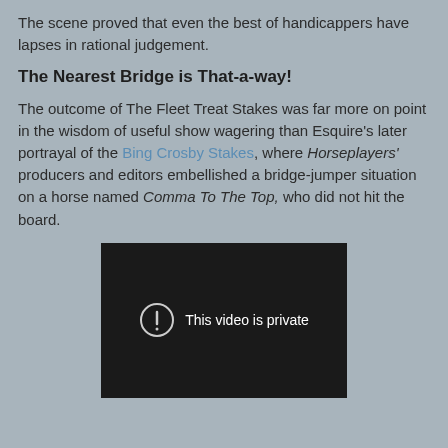The scene proved that even the best of handicappers have lapses in rational judgement.
The Nearest Bridge is That-a-way!
The outcome of The Fleet Treat Stakes was far more on point in the wisdom of useful show wagering than Esquire's later portrayal of the Bing Crosby Stakes, where Horseplayers' producers and editors embellished a bridge-jumper situation on a horse named Comma To The Top, who did not hit the board.
[Figure (screenshot): Embedded video player showing a black screen with a circular exclamation mark icon and the text 'This video is private']